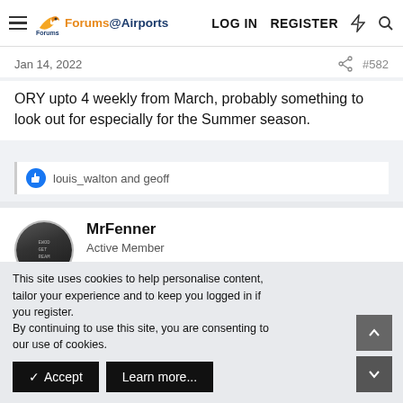Forums@Airports | LOG IN | REGISTER
Jan 14, 2022  #582
ORY upto 4 weekly from March, probably something to look out for especially for the Summer season.
louis_walton and geoff
MrFenner
Active Member
This site uses cookies to help personalise content, tailor your experience and to keep you logged in if you register.
By continuing to use this site, you are consenting to our use of cookies.
✓ Accept   Learn more...